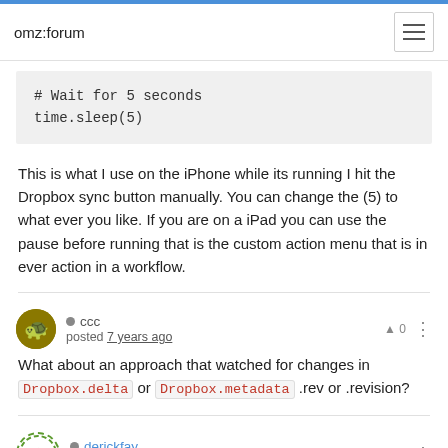omz:forum
# Wait for 5 seconds
time.sleep(5)
This is what I use on the iPhone while its running I hit the Dropbox sync button manually. You can change the (5) to what ever you like. If you are on a iPad you can use the pause before running that is the custom action menu that is in ever action in a workflow.
ccc
posted 7 years ago
What about an approach that watched for changes in Dropbox.delta or Dropbox.metadata .rev or .revision?
derickfay
posted 7 years ago
@Jozh I tried that but with that much delay and extra clicks I might as well just open editorial directly, open the file, move the cursor and